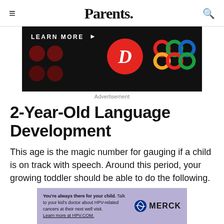Parents.
[Figure (other): Advertisement banner with dark background showing 'LEARN MORE' text with decorative circles and logos]
Advertisement
2-Year-Old Language Development
This age is the magic number for gauging if a child is on track with speech. Around this period, your growing toddler should be able to do the following.
[Figure (other): Merck advertisement about HPV-related cancers with purple background]